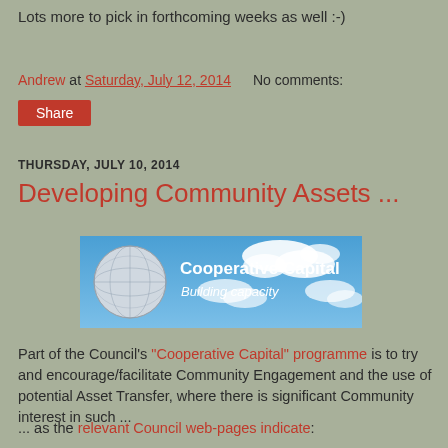Lots more to pick in forthcoming weeks as well :-)
Andrew at Saturday, July 12, 2014   No comments:
Share
THURSDAY, JULY 10, 2014
Developing Community Assets ...
[Figure (illustration): Cooperative Capital banner image with globe and cloudy sky background. Text reads: Cooperative Capital, Building capacity]
Part of the Council's "Cooperative Capital" programme is to try and encourage/facilitate Community Engagement and the use of potential Asset Transfer, where there is significant Community interest in such ...
... as the relevant Council web-pages indicate: